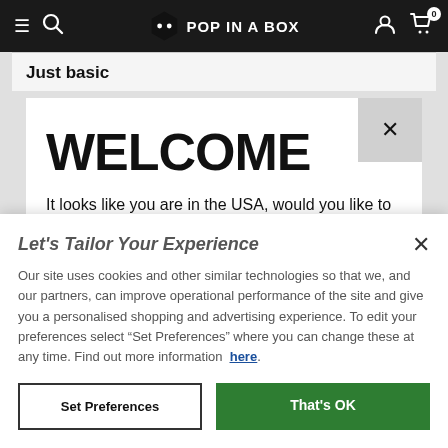Pop In A Box — navigation bar with hamburger menu, search, logo, user icon, cart (0)
Just basic
WELCOME
It looks like you are in the USA, would you like to see our US site with $USD currency?
Let's Tailor Your Experience
Our site uses cookies and other similar technologies so that we, and our partners, can improve operational performance of the site and give you a personalised shopping and advertising experience. To edit your preferences select “Set Preferences” where you can change these at any time. Find out more information here.
Set Preferences | That's OK